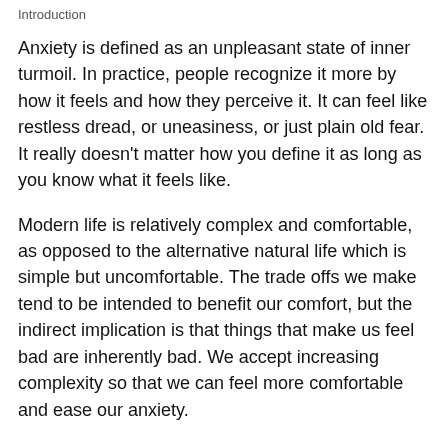Introduction
Anxiety is defined as an unpleasant state of inner turmoil. In practice, people recognize it more by how it feels and how they perceive it. It can feel like restless dread, or uneasiness, or just plain old fear. It really doesn't matter how you define it as long as you know what it feels like.
Modern life is relatively complex and comfortable, as opposed to the alternative natural life which is simple but uncomfortable. The trade offs we make tend to be intended to benefit our comfort, but the indirect implication is that things that make us feel bad are inherently bad. We accept increasing complexity so that we can feel more comfortable and ease our anxiety.